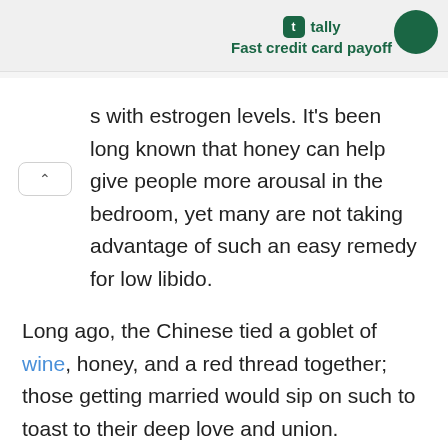[Figure (logo): Tally app logo with text 'tally' and tagline 'Fast credit card payoff' on a light grey banner, with a dark green circle on the right]
s with estrogen levels. It's been long known that honey can help give people more arousal in the bedroom, yet many are not taking advantage of such an easy remedy for low libido.
Long ago, the Chinese tied a goblet of wine, honey, and a red thread together; those getting married would sip on such to toast to their deep love and union. Hippocrates, the Greek physician, told patients to take honey to